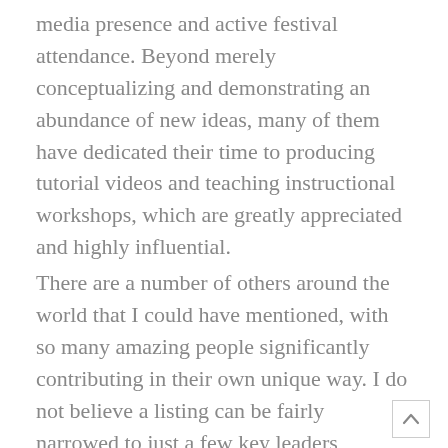media presence and active festival attendance. Beyond merely conceptualizing and demonstrating an abundance of new ideas, many of them have dedicated their time to producing tutorial videos and teaching instructional workshops, which are greatly appreciated and highly influential.
There are a number of others around the world that I could have mentioned, with so many amazing people significantly contributing in their own unique way. I do not believe a listing can be fairly narrowed to just a few key leaders, because it truly is a global collective.
7. Do you have any advice for other jugglers who want to push their creative